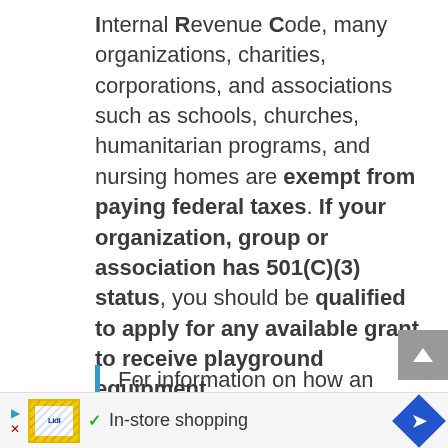Internal Revenue Code, many organizations, charities, corporations, and associations such as schools, churches, humanitarian programs, and nursing homes are exempt from paying federal taxes. If your organization, group or association has 501(C)(3) status, you should be qualified to apply for any available grant to receive playground equipment.
For information on how an individual family can get funding or donations for playground equipment, please keep
[Figure (other): Advertisement bar: Lidl store ad with 'In-store shopping' text, play/close icons, store image, checkmark, and navigation arrow diamond]